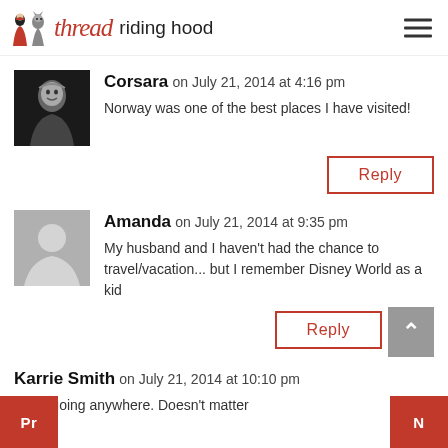thread riding hood
Corsara on July 21, 2014 at 4:16 pm
Norway was one of the best places I have visited!
Reply
Amanda on July 21, 2014 at 9:35 pm
My husband and I haven't had the chance to travel/vacation... but I remember Disney World as a kid
Reply
Karrie Smith on July 21, 2014 at 10:10 pm
I love going anywhere. Doesn't matter